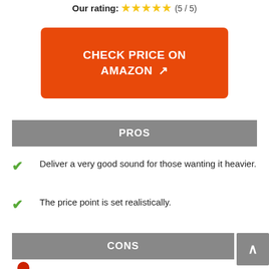Our rating: ★★★★★ (5 / 5)
CHECK PRICE ON AMAZON ↗
PROS
Deliver a very good sound for those wanting it heavier.
The price point is set realistically.
CONS